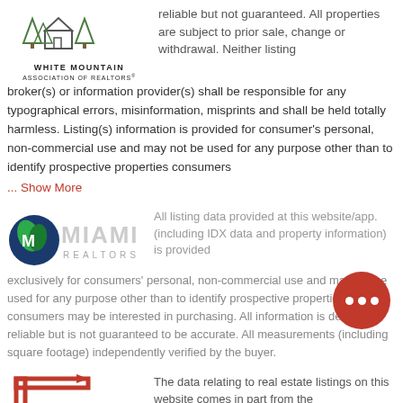[Figure (logo): White Mountain Association of Realtors logo with house and trees]
reliable but not guaranteed. All properties are subject to prior sale, change or withdrawal. Neither listing broker(s) or information provider(s) shall be responsible for any typographical errors, misinformation, misprints and shall be held totally harmless. Listing(s) information is provided for consumer's personal, non-commercial use and may not be used for any purpose other than to identify prospective properties consumers
... Show More
[Figure (logo): Miami Realtors logo]
All listing data provided at this website/app. (including IDX data and property information) is provided exclusively for consumers' personal, non-commercial use and may not be used for any purpose other than to identify prospective properties consumers may be interested in purchasing. All information is deemed reliable but is not guaranteed to be accurate. All measurements (including square footage) independently verified by the buyer.
[Figure (logo): Red bracket/corner logo (partially visible)]
The data relating to real estate listings on this website comes in part from the